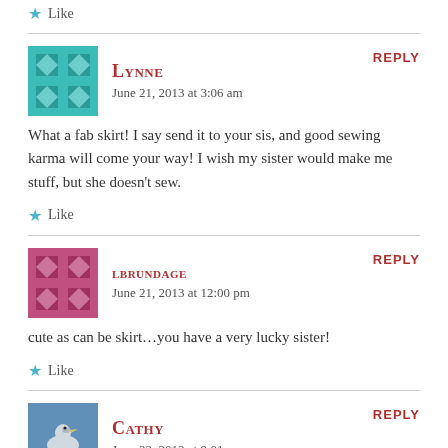★ Like
LYNNE says:
June 21, 2013 at 3:06 am
REPLY
What a fab skirt! I say send it to your sis, and good sewing karma will come your way! I wish my sister would make me stuff, but she doesn't sew.
★ Like
LBRUNDAGE says:
June 21, 2013 at 12:00 pm
REPLY
cute as can be skirt…you have a very lucky sister!
★ Like
CATHY says:
June 22, 2013 at 9:01 am
REPLY
i think you should teach your sister to sew, then she can sew you lots of